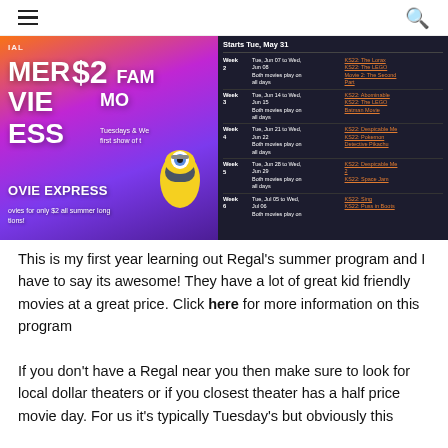≡  🔍
[Figure (screenshot): Regal Summer Movie Express promotional image showing $2 Family Movies, Tuesdays & Wednesdays, first show of the day, with Minions characters. Left half shows colorful promotional banner, right half shows schedule table with weeks 2-6 listing dates and movie titles including: Week 2 Tue Jun 07 to Wed Jun 08 KS22: The Lorax / KS22: The LEGO Movie 2: The Second Part; Week 3 Tue Jun 14 to Wed Jun 15 KS22: Abominable / KS22: The LEGO Batman Movie; Week 4 Tue Jun 21 to Wed Jun 22 KS22: Despicable Me / KS22: Pokemon Detective Pikachu; Week 5 Tue Jun 28 to Wed Jun 29 KS22: Despicable Me 2 / KS22: Space Jam; Week 6 Tue Jul 05 to Wed Jul 06 KS22: Sing / KS22: Puss in Boots]
This is my first year learning out Regal's summer program and I have to say its awesome! They have a lot of great kid friendly movies at a great price. Click here for more information on this program
If you don't have a Regal near you then make sure to look for local dollar theaters or if you closest theater has a half price movie day. For us it's typically Tuesday's but obviously this